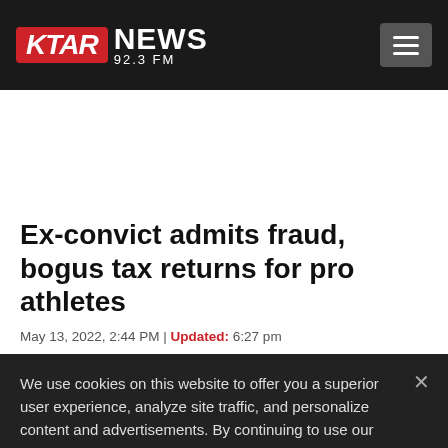KTAR NEWS 92.3 FM
Ex-convict admits fraud, bogus tax returns for pro athletes
May 13, 2022, 2:44 PM | Updated: 6:27 pm
We use cookies on this website to offer you a superior user experience, analyze site traffic, and personalize content and advertisements. By continuing to use our site, you consent to our use of cookies. Please visit our Privacy Policy for more information.